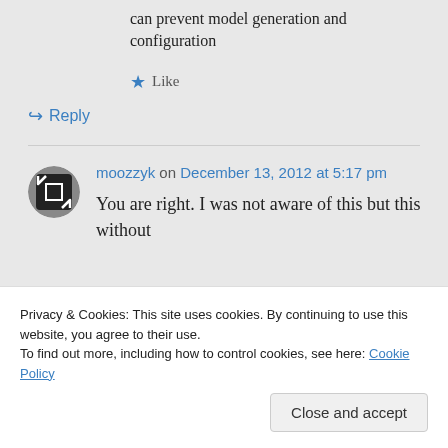can prevent model generation and configuration
Like
Reply
moozzyk on December 13, 2012 at 5:17 pm
You are right. I was not aware of this but this without
Privacy & Cookies: This site uses cookies. By continuing to use this website, you agree to their use.
To find out more, including how to control cookies, see here: Cookie Policy
Close and accept